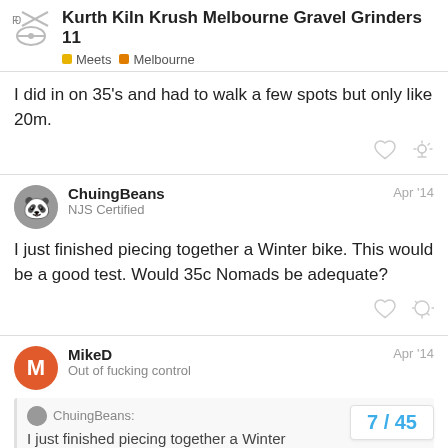Kurth Kiln Krush Melbourne Gravel Grinders 11 | Meets | Melbourne
I did in on 35's and had to walk a few spots but only like 20m.
ChuingBeans
NJS Certified
Apr '14

I just finished piecing together a Winter bike. This would be a good test. Would 35c Nomads be adequate?
MikeD
Out of fucking control
Apr '14
ChuingBeans:
I just finished piecing together a Winter
7 / 45